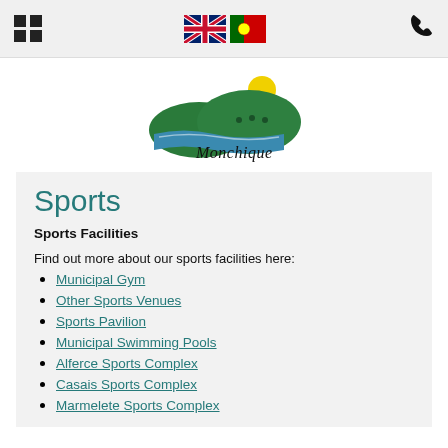Navigation bar with grid menu icon, UK and Portugal flags, and phone icon
[Figure (logo): Monchique municipality logo with landscape illustration and script text 'Monchique']
Sports
Sports Facilities
Find out more about our sports facilities here:
Municipal Gym
Other Sports Venues
Sports Pavilion
Municipal Swimming Pools
Alferce Sports Complex
Casais Sports Complex
Marmelete Sports Complex